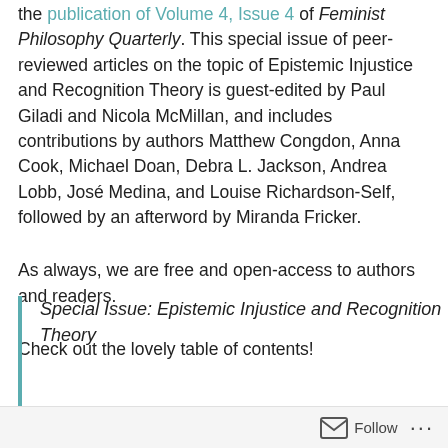the publication of Volume 4, Issue 4 of Feminist Philosophy Quarterly. This special issue of peer-reviewed articles on the topic of Epistemic Injustice and Recognition Theory is guest-edited by Paul Giladi and Nicola McMillan, and includes contributions by authors Matthew Congdon, Anna Cook, Michael Doan, Debra L. Jackson, Andrea Lobb, José Medina, and Louise Richardson-Self, followed by an afterword by Miranda Fricker.
As always, we are free and open-access to authors and readers.
Check out the lovely table of contents!
Special Issue: Epistemic Injustice and Recognition Theory
Follow